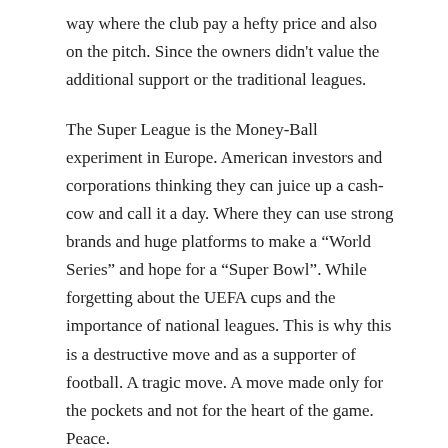way where the club pay a hefty price and also on the pitch. Since the owners didn't value the additional support or the traditional leagues.
The Super League is the Money-Ball experiment in Europe. American investors and corporations thinking they can juice up a cash-cow and call it a day. Where they can use strong brands and huge platforms to make a “World Series” and hope for a “Super Bowl”. While forgetting about the UEFA cups and the importance of national leagues. This is why this is a destructive move and as a supporter of football. A tragic move. A move made only for the pockets and not for the heart of the game. Peace.
Share this: